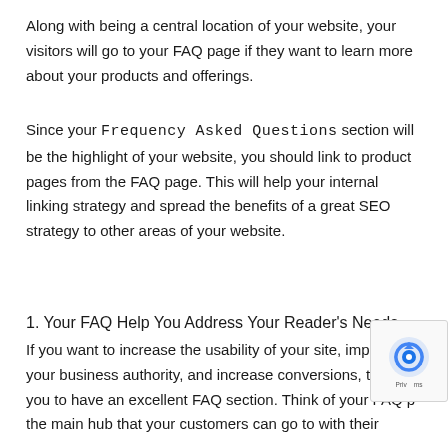Along with being a central location of your website, your visitors will go to your FAQ page if they want to learn more about your products and offerings.
Since your Frequency Asked Questions section will be the highlight of your website, you should link to product pages from the FAQ page. This will help your internal linking strategy and spread the benefits of a great SEO strategy to other areas of your website.
1. Your FAQ Help You Address Your Reader's Needs
If you want to increase the usability of your site, improve your business authority, and increase conversions, then you to have an excellent FAQ section. Think of your FAQ p the main hub that your customers can go to with their